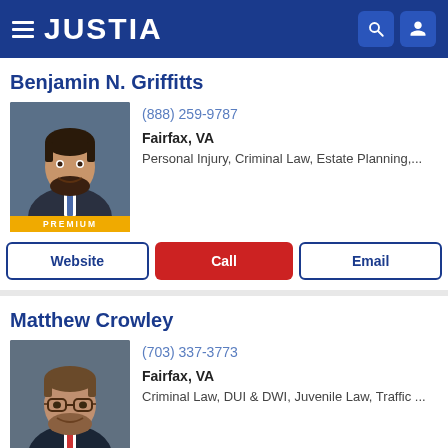JUSTIA
Benjamin N. Griffitts
(888) 259-9787
Fairfax, VA
Personal Injury, Criminal Law, Estate Planning,...
Website | Call | Email
Matthew Crowley
(703) 337-3773
Fairfax, VA
Criminal Law, DUI & DWI, Juvenile Law, Traffic ...
Website | Call | Email